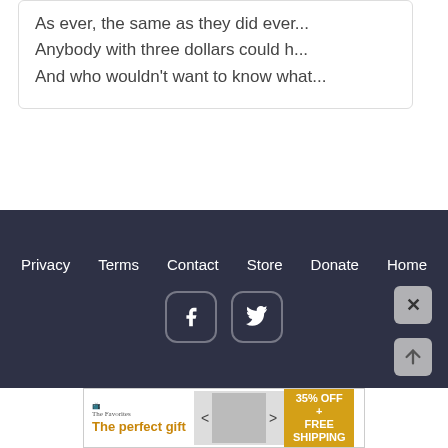As ever, the same as they did ever...
Anybody with three dollars could h...
And who wouldn't want to know what...
Privacy   Terms   Contact   Store   Donate   Home
[Figure (screenshot): Advertisement banner: The perfect gift, 35% OFF + FREE SHIPPING]
[Figure (other): Close (X) button and scroll-up arrow button]